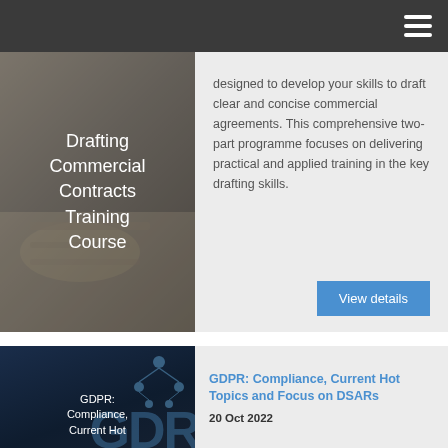Navigation bar with hamburger menu
[Figure (photo): Hands writing on paper, overlaid with text: Drafting Commercial Contracts Training Course]
designed to develop your skills to draft clear and concise commercial agreements. This comprehensive two-part programme focuses on delivering practical and applied training in the key drafting skills.
View details
[Figure (photo): Dark blue background with person in suit, GDPR text overlay, network icons. Text: GDPR: Compliance, Current Hot]
GDPR: Compliance, Current Hot Topics and Focus on DSARs
20 Oct 2022